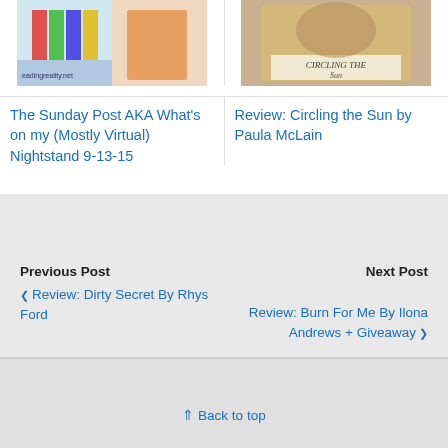[Figure (photo): Book cover image for The Sunday Post / Nightstand post]
[Figure (photo): Book cover image for Circling the Sun by Paula McLain]
The Sunday Post AKA What's on my (Mostly Virtual) Nightstand 9-13-15
Review: Circling the Sun by Paula McLain
Previous Post
◀ Review: Dirty Secret By Rhys Ford
Next Post
Review: Burn For Me By Ilona Andrews + Giveaway ▶
⇑ Back to top